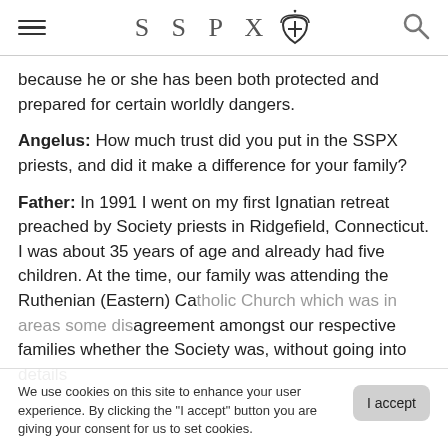SSPX
because he or she has been both protected and prepared for certain worldly dangers.
Angelus: How much trust did you put in the SSPX priests, and did it make a difference for your family?
Father: In 1991 I went on my first Ignatian retreat preached by Society priests in Ridgefield, Connecticut. I was about 35 years of age and already had five children. At the time, our family was attending the Ruthenian (Eastern) Catholic Church which was in areas some disagreement amongst our respective families whether the Society was, without going into details
We use cookies on this site to enhance your user experience. By clicking the "I accept" button you are giving your consent for us to set cookies.